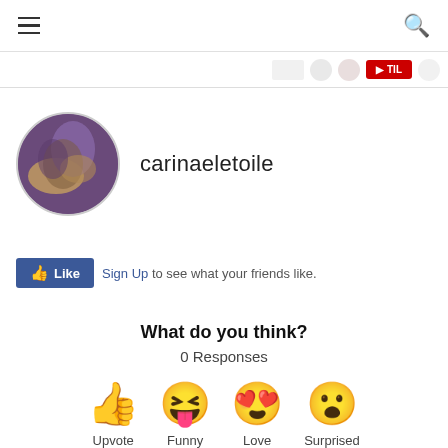Navigation bar with hamburger menu and search icon
[Figure (screenshot): Partial social share bar with icons and a red share button]
carinaeletoile
Like Sign Up to see what your friends like.
What do you think?
0 Responses
[Figure (infographic): Four reaction emoji icons: thumbs up (Upvote), laughing face with tongue (Funny), heart eyes face (Love), surprised face (Surprised)]